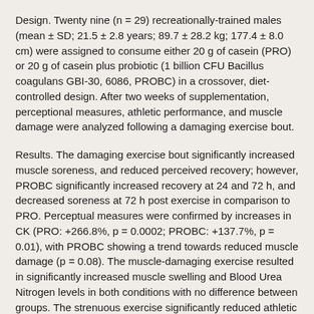Design. Twenty nine (n = 29) recreationally-trained males (mean ± SD; 21.5 ± 2.8 years; 89.7 ± 28.2 kg; 177.4 ± 8.0 cm) were assigned to consume either 20 g of casein (PRO) or 20 g of casein plus probiotic (1 billion CFU Bacillus coagulans GBI-30, 6086, PROBC) in a crossover, diet-controlled design. After two weeks of supplementation, perceptional measures, athletic performance, and muscle damage were analyzed following a damaging exercise bout.
Results. The damaging exercise bout significantly increased muscle soreness, and reduced perceived recovery; however, PROBC significantly increased recovery at 24 and 72 h, and decreased soreness at 72 h post exercise in comparison to PRO. Perceptual measures were confirmed by increases in CK (PRO: +266.8%, p = 0.0002; PROBC: +137.7%, p = 0.01), with PROBC showing a trend towards reduced muscle damage (p = 0.08). The muscle-damaging exercise resulted in significantly increased muscle swelling and Blood Urea Nitrogen levels in both conditions with no difference between groups. The strenuous exercise significantly reduced athletic performance in PRO (Wingate Peak Power PRO: +39.9 w; Up: 5.9%...